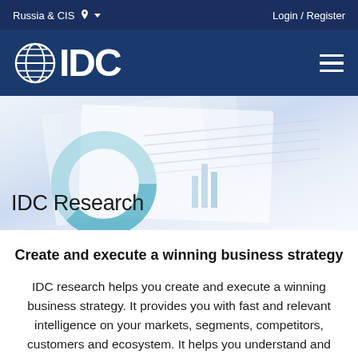Russia & CIS  Login / Register
[Figure (logo): IDC logo with globe icon and text IDC on dark blue navigation bar with hamburger menu]
[Figure (photo): Hero banner with blurred documents/charts in light blue tones, overlaid with title text IDC Research]
IDC Research
Create and execute a winning business strategy
IDC research helps you create and execute a winning business strategy. It provides you with fast and relevant intelligence on your markets, segments, competitors, customers and ecosystem. It helps you understand and